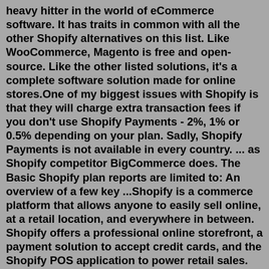heavy hitter in the world of eCommerce software. It has traits in common with all the other Shopify alternatives on this list. Like WooCommerce, Magento is free and open-source. Like the other listed solutions, it's a complete software solution made for online stores.One of my biggest issues with Shopify is that they will charge extra transaction fees if you don't use Shopify Payments - 2%, 1% or 0.5% depending on your plan. Sadly, Shopify Payments is not available in every country. ... as Shopify competitor BigCommerce does. The Basic Shopify plan reports are limited to: An overview of a few key ...Shopify is a commerce platform that allows anyone to easily sell online, at a retail location, and everywhere in between. Shopify offers a professional online storefront, a payment solution to accept credit cards, and the Shopify POS application to power retail sales. Shopify is used by over 90,000 retailers in 100 different countries.Our top 5 Alternatives to shopify: 1. BigCommerce. The first and arguably most powerful alternative to Shopify is...